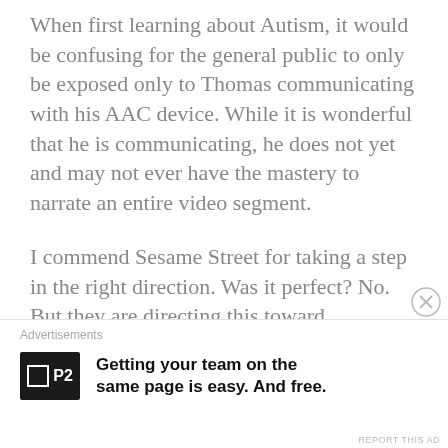When first learning about Autism, it would be confusing for the general public to only be exposed only to Thomas communicating with his AAC device. While it is wonderful that he is communicating, he does not yet and may not ever have the mastery to narrate an entire video segment.
I commend Sesame Street for taking a step in the right direction. Was it perfect? No. But they are directing this toward introducing Autism to neurotypical children and adults. It is laying important
Advertisements
Getting your team on the same page is easy. And free.